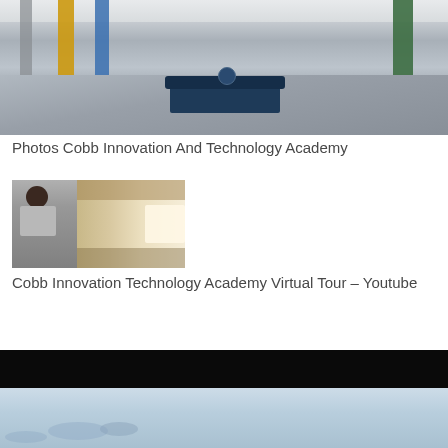[Figure (photo): Interior of Cobb Innovation And Technology Academy showing a large open common area with colorful columns (yellow, blue, green), a dark blue modular sofa/seating in the center, and a tiled floor.]
Photos Cobb Innovation And Technology Academy
[Figure (photo): A woman in a gray blazer standing in a school hallway with lockers and student artwork on the walls, gesturing with her hands. The hallway recedes into the background with bright lighting.]
Cobb Innovation Technology Academy Virtual Tour – Youtube
[Figure (photo): A video thumbnail showing a dark black bar at the top and a light blue sky or outdoor scene below, partially visible at the bottom of the page.]